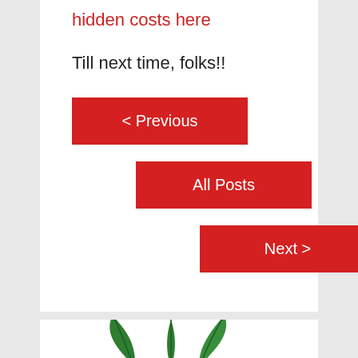hidden costs here
Till next time, folks!!
[Figure (other): Navigation buttons: < Previous, All Posts, Next > arranged in a staircase pattern with red backgrounds and white text]
[Figure (illustration): Bottom card with green cannabis/plant leaves partially visible at the bottom of the page]